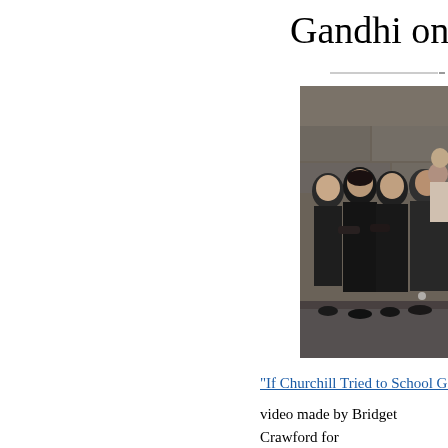Gandhi on the L
[Figure (photo): Black and white photograph of a group of people, likely women, standing together outdoors in front of a stone building.]
“If Churchill Tried to School Gandhi
video made by Bridget Crawford for found at The Faculty Lounge. I sham introduce readers to some of the best